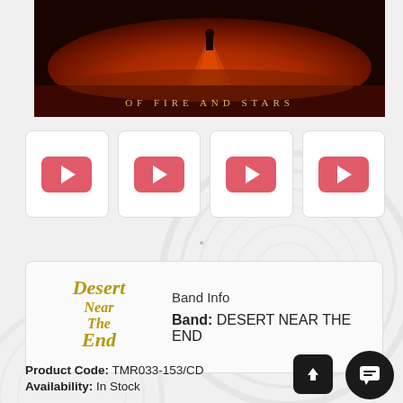[Figure (photo): Album art banner showing a desert landscape with fiery red/orange sky and a silhouetted figure, with text 'OF FIRE AND STARS' at the bottom]
[Figure (other): Four YouTube play button thumbnails in a row]
[Figure (other): Band info box with Desert Near The End logo and band info text]
Band Info
Band: DESERT NEAR THE END
Product Code: TMR033-153/CD
Availability: In Stock
€ 9.90